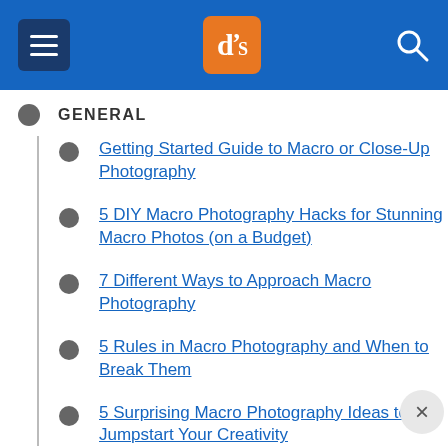[Figure (screenshot): Website header with blue background, hamburger menu icon on the left, dPS logo (orange square with white 'dP' letters) in the center, and search icon on the right]
GENERAL
Getting Started Guide to Macro or Close-Up Photography
5 DIY Macro Photography Hacks for Stunning Macro Photos (on a Budget)
7 Different Ways to Approach Macro Photography
5 Rules in Macro Photography and When to Break Them
5 Surprising Macro Photography Ideas to Jumpstart Your Creativity